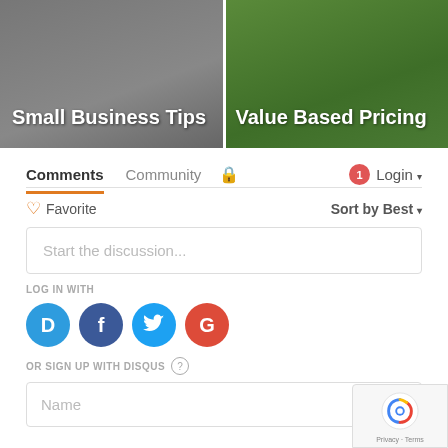[Figure (screenshot): Two article thumbnail cards side by side. Left card has dark gray background with white bold text 'Small Business Tips'. Right card has green background with white bold text 'Value Based Pricing'.]
Comments  Community  🔒  1  Login
♡ Favorite  Sort by Best
Start the discussion...
LOG IN WITH
[Figure (screenshot): Four social login icons: Disqus (blue D), Facebook (dark blue f), Twitter (light blue bird), Google (red G)]
OR SIGN UP WITH DISQUS ?
Name